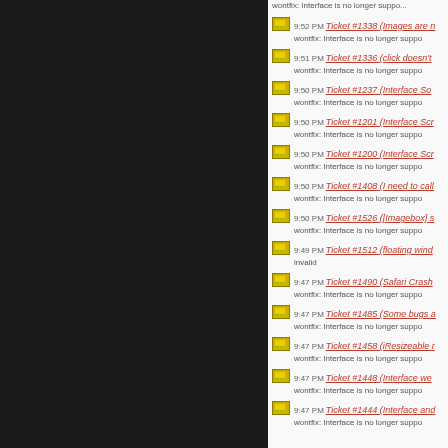[Figure (screenshot): Dark left panel of a web interface]
9:52 PM Ticket #1338 (Images are n... wontfix: Interface is no longer suppo...
9:51 PM Ticket #1336 (click doesn't... wontfix: Interface is no longer suppo...
9:50 PM Ticket #1237 (Interface So... wontfix: Interface is no longer suppo...
9:50 PM Ticket #1201 (Interface Scr... wontfix: Interface is no longer suppo...
9:50 PM Ticket #1200 (Interface Scr... wontfix: Interface is no longer suppo...
9:50 PM Ticket #1408 (I need to call... wontfix: Interface is no longer suppo...
9:50 PM Ticket #1526 ([Imagebox] s... wontfix: Interface is no longer suppo...
9:49 PM Ticket #1512 (floating wind... invalid
9:47 PM Ticket #1490 (Safari Crash... wontfix: Interface is no longer suppo...
9:47 PM Ticket #1485 (Some bugs a... wontfix: Interface is no longer suppo...
9:47 PM Ticket #1458 (iResizeable r... wontfix: Interface is no longer suppo...
9:47 PM Ticket #1448 (Interface we... wontfix: Interface is no longer suppo...
9:47 PM Ticket #1444 (Interface and... wontfix: Interface is no longer suppo...